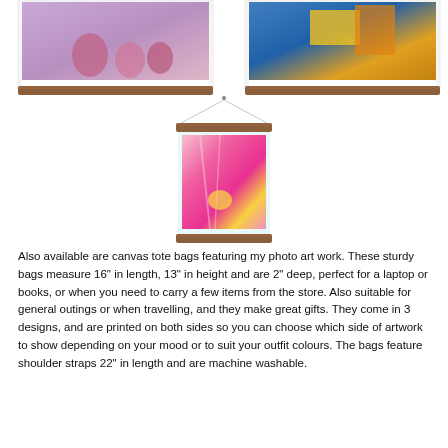[Figure (photo): Three poster/print hangers displayed. Top left: a framed photo showing pink/purple pots on a shelf with a wooden bottom rail. Top right: a framed photo showing a colorful abstract/nature scene with a wooden bottom rail. Center bottom: a hanging poster frame (two wooden rails) with a string/chain hanger at top, displaying a pink abstract art print.]
Also available are canvas tote bags featuring my photo art work. These sturdy bags measure 16" in length, 13" in height and are 2" deep, perfect for a laptop or books, or when you need to carry a few items from the store. Also suitable for general outings or when travelling, and they make great gifts. They come in 3 designs, and are printed on both sides so you can choose which side of artwork to show depending on your mood or to suit your outfit colours. The bags feature shoulder straps 22" in length and are machine washable.